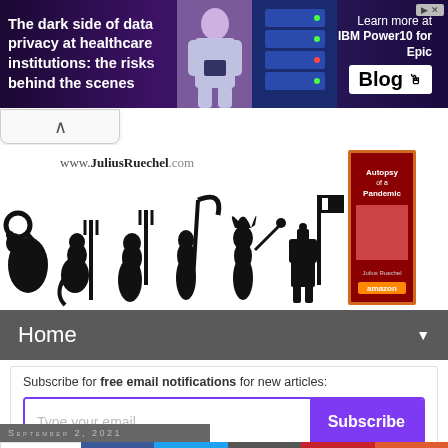[Figure (infographic): Advertisement banner: 'The dark side of data privacy at healthcare institutions: the risks behind the scenes' with IBM Power10 for Epic Blog button]
[Figure (illustration): JuliusRuechel.com website header with evolution silhouette illustration showing progression from rat to human-like figures, including a book 'Autopsy of a Pandemic' on Amazon]
Home
Subscribe for free email notifications for new articles:
Type your email...   Subscribe
September 2, 2021
2.8K SHARES